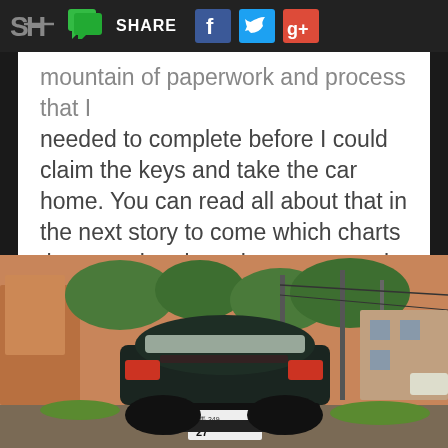SH SHARE [Facebook] [Twitter] [Google+]
mountain of paperwork and process that I needed to complete before I could claim the keys and take the car home. You can read all about that in the next story to come which charts the convoluted purchase process in Japan. I've a few more grey hairs now.
[Figure (photo): Rear view of a dark-colored sports car (Honda NSX) with Japanese license plate reading 練馬 349 27, parked on a street with blurred background of buildings and trees.]